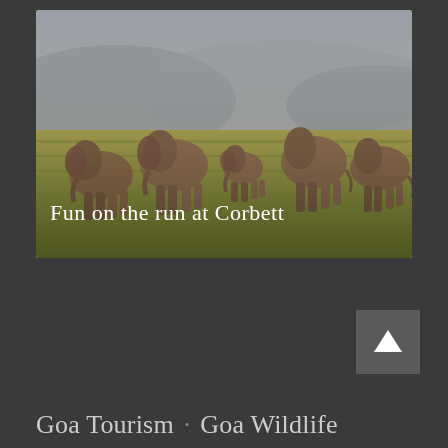[Figure (photo): A herd of elephants walking across a grassy savanna plain with misty mountains and grey sky in the background. Text overlay reads 'Fun on the run at Corbett'.]
↑ (scroll to top button)
Goa Tourism · Goa Wildlife